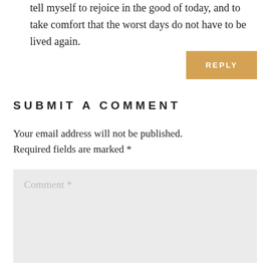tell myself to rejoice in the good of today, and to take comfort that the worst days do not have to be lived again.
REPLY
SUBMIT A COMMENT
Your email address will not be published. Required fields are marked *
Comment *